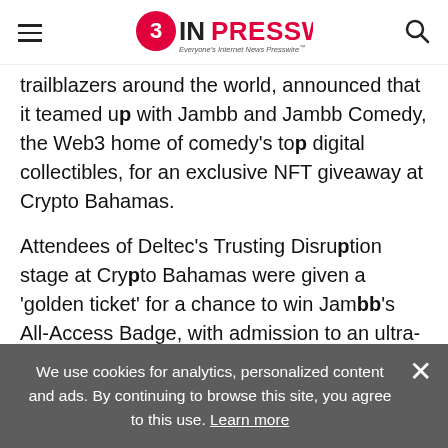EIN Presswire — Everyone's Internet News Presswire
trailblazers around the world, announced that it teamed up with Jambb and Jambb Comedy, the Web3 home of comedy's top digital collectibles, for an exclusive NFT giveaway at Crypto Bahamas.
Attendees of Deltec's Trusting Disruption stage at Crypto Bahamas were given a 'golden ticket' for a chance to win Jambb's All-Access Badge, with admission to an ultra-exclusive community and full access to all live and virtual Jambb events and productions.
We use cookies for analytics, personalized content and ads. By continuing to browse this site, you agree to this use. Learn more